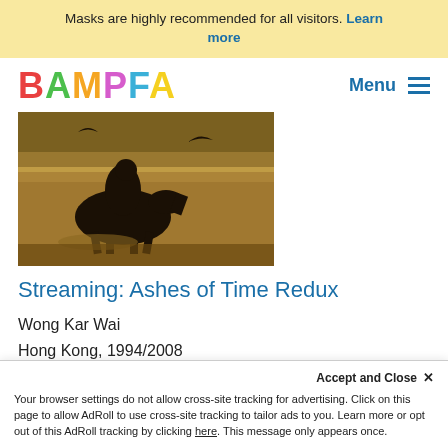Masks are highly recommended for all visitors. Learn more
[Figure (logo): BAMPFA colorful logo with letters B (red), A (green), M (orange), P (purple), F (teal), A (yellow)]
[Figure (photo): Film still from Ashes of Time Redux showing a dark silhouetted figure on horseback in a warm desert landscape]
Streaming: Ashes of Time Redux
Wong Kar Wai
Hong Kong, 1994/2008
December 11, 2020–February 28, 2021
Accept and Close ×
Your browser settings do not allow cross-site tracking for advertising. Click on this page to allow AdRoll to use cross-site tracking to tailor ads to you. Learn more or opt out of this AdRoll tracking by clicking here. This message only appears once.